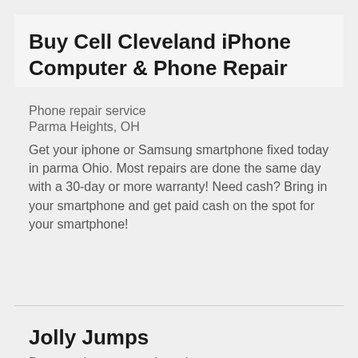Buy Cell Cleveland iPhone Computer & Phone Repair
Phone repair service
Parma Heights, OH
Get your iphone or Samsung smartphone fixed today in parma Ohio. Most repairs are done the same day with a 30-day or more warranty! Need cash? Bring in your smartphone and get paid cash on the spot for your smartphone!
Jolly Jumps
Party equipment rental service
Fenton, MO